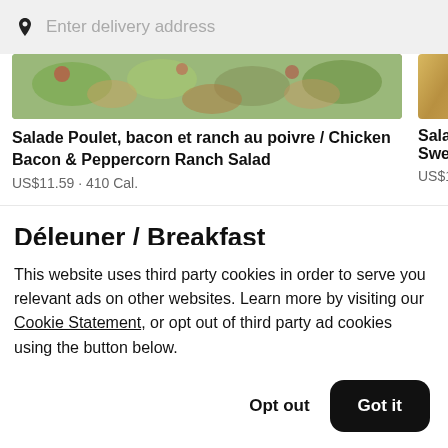Enter delivery address
[Figure (photo): Food salad photo partially visible at top of card]
Salade Poulet, bacon et ranch au poivre / Chicken Bacon & Peppercorn Ranch Salad
US$11.59 · 410 Cal.
Salade Sweet
US$10.6
Déleuner / Breakfast
This website uses third party cookies in order to serve you relevant ads on other websites. Learn more by visiting our Cookie Statement, or opt out of third party ad cookies using the button below.
Opt out
Got it